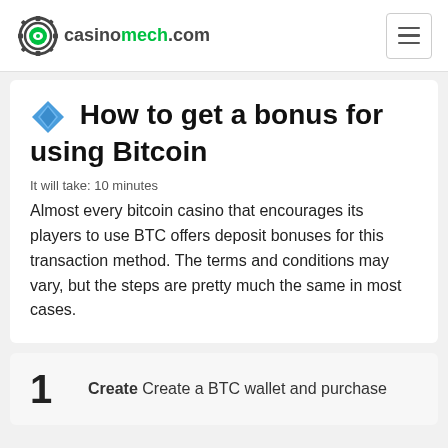casinomech.com
How to get a bonus for using Bitcoin
It will take: 10 minutes
Almost every bitcoin casino that encourages its players to use BTC offers deposit bonuses for this transaction method. The terms and conditions may vary, but the steps are pretty much the same in most cases.
1 Create Create a BTC wallet and purchase